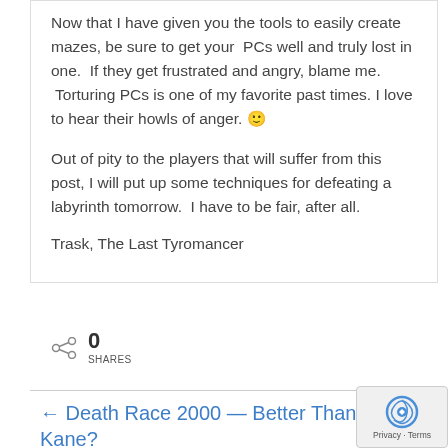Now that I have given you the tools to easily create mazes, be sure to get your  PCs well and truly lost in one.  If they get frustrated and angry, blame me.  Torturing PCs is one of my favorite past times. I love to hear their howls of anger. 🙂
Out of pity to the players that will suffer from this post, I will put up some techniques for defeating a labyrinth tomorrow.  I have to be fair, after all.
Trask, The Last Tyromancer
[Figure (infographic): Share icon with count: 0 SHARES]
← Death Race 2000 — Better Than Citizen Kane?
DragonCon 2008 Vendor List with Hyperlinks